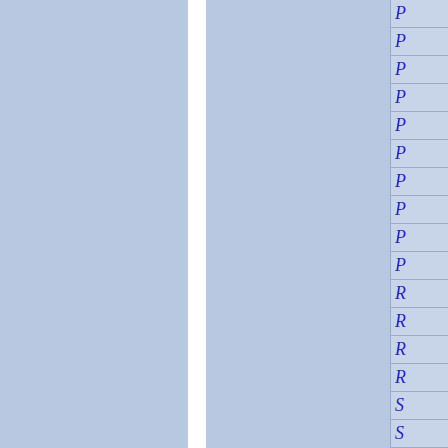[Figure (other): Page showing a two-column layout with light blue background and a white vertical divider strip between columns. On the right edge is a narrow index/tab column with italicized blue letters: P, P, P, P, P, P, P, P, P, P, R, R, R, R, S, S]
P
P
P
P
P
P
P
P
P
P
R
R
R
R
S
S